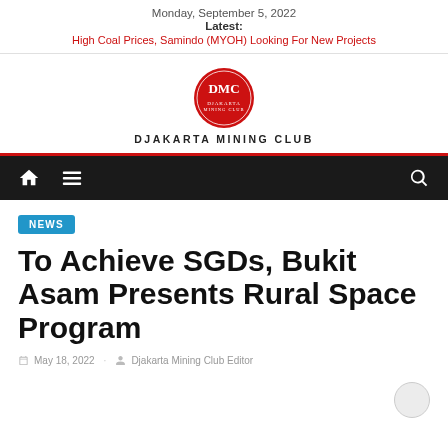Monday, September 5, 2022
Latest:
High Coal Prices, Samindo (MYOH) Looking For New Projects
[Figure (logo): Djakarta Mining Club circular red logo with DMC monogram and text DJAKARTA MINING CLUB below]
Navigation bar with home, menu, and search icons
NEWS
To Achieve SGDs, Bukit Asam Presents Rural Space Program
May 18, 2022  Djakarta Mining Club Editor